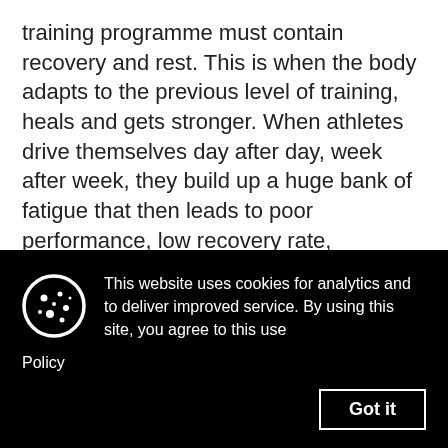training programme must contain recovery and rest. This is when the body adapts to the previous level of training, heals and gets stronger. When athletes drive themselves day after day, week after week, they build up a huge bank of fatigue that then leads to poor performance, low recovery rate, decreased coordination, diminished power and psychological stress. None of this is what you want! Becoming fit and improving performance is a balance of hard work and
This website uses cookies for analytics and to deliver improved service. By using this site, you agree to this use
Policy
Got it